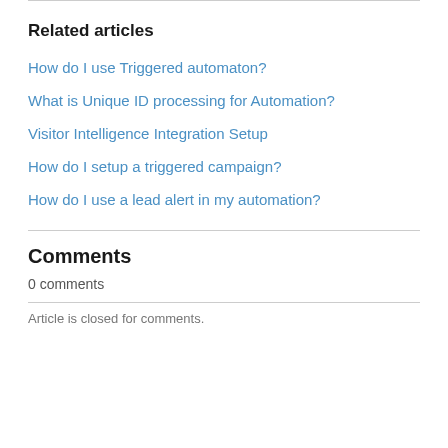Related articles
How do I use Triggered automaton?
What is Unique ID processing for Automation?
Visitor Intelligence Integration Setup
How do I setup a triggered campaign?
How do I use a lead alert in my automation?
Comments
0 comments
Article is closed for comments.